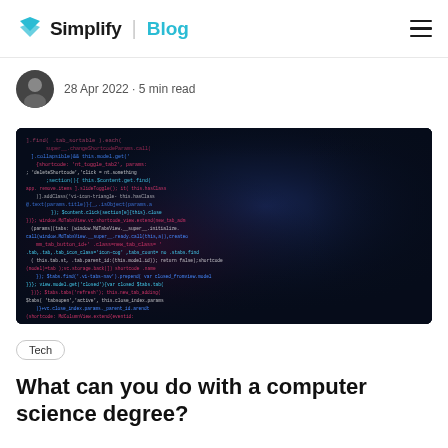Simplify | Blog
28 Apr 2022 · 5 min read
[Figure (photo): Dark screen showing colorful code with pink, blue, and white syntax highlighting on a dark background, photographed at an angle]
Tech
What can you do with a computer science degree?